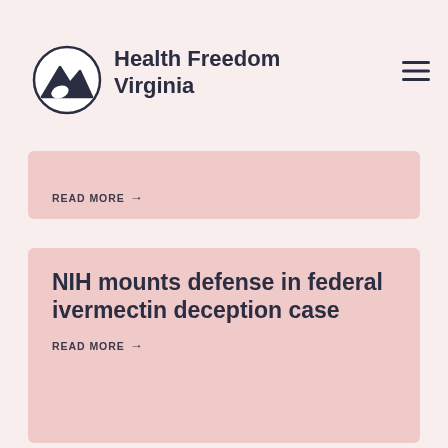Health Freedom Virginia
READ MORE →
NIH mounts defense in federal ivermectin deception case
READ MORE →